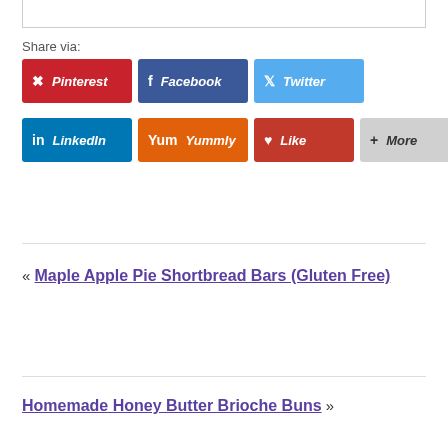Share via:
[Figure (infographic): Social share buttons: Pinterest (red), Facebook (blue), Twitter (light blue), LinkedIn (dark blue), Yummly (orange), Like (red), More (gray)]
« Maple Apple Pie Shortbread Bars (Gluten Free)
Homemade Honey Butter Brioche Buns »